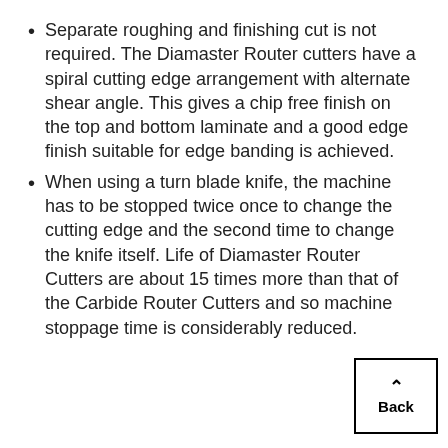Separate roughing and finishing cut is not required. The Diamaster Router cutters have a spiral cutting edge arrangement with alternate shear angle. This gives a chip free finish on the top and bottom laminate and a good edge finish suitable for edge banding is achieved.
When using a turn blade knife, the machine has to be stopped twice once to change the cutting edge and the second time to change the knife itself. Life of Diamaster Router Cutters are about 15 times more than that of the Carbide Router Cutters and so machine stoppage time is considerably reduced.